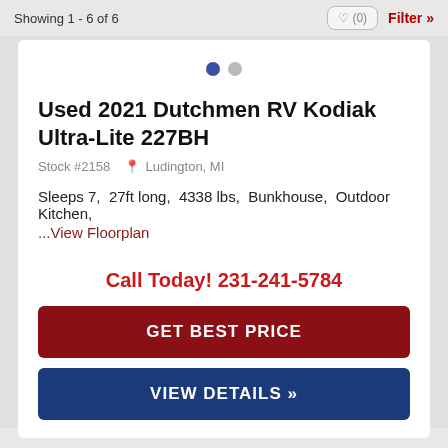Showing 1 - 6 of 6
[Figure (other): Carousel dot indicators: one filled blue dot and one gray dot]
Used 2021 Dutchmen RV Kodiak Ultra-Lite 227BH
Stock #2158  Ludington, MI
Sleeps 7,  27ft long,  4338 lbs,  Bunkhouse,  Outdoor Kitchen,
...View Floorplan
Call Today! 231-241-5784
GET BEST PRICE
VIEW DETAILS »